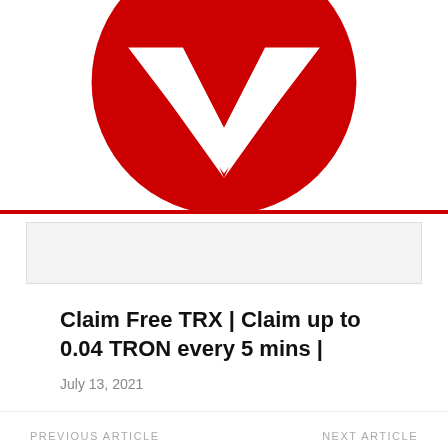[Figure (logo): TRON cryptocurrency logo — red circle with white stylized chevron/arrow mark in center, partially cropped at top]
Claim Free TRX | Claim up to 0.04 TRON every 5 mins |
July 13, 2021
PREVIOUS ARTICLE
Moon Bitcoin | You Can Claim Thousands Of Bitcoins Daily Online |
NEXT ARTICLE
Moon Litecoin | You Can Start Your Business By Earn Litecoin Daily |